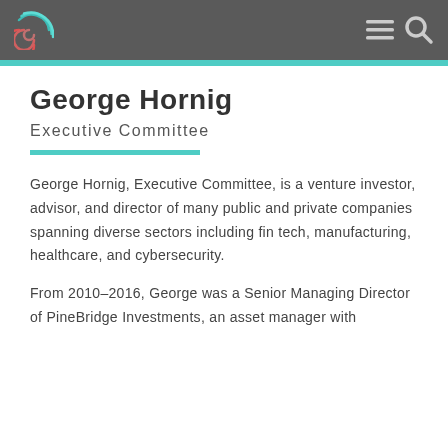George Hornig — site header with logo and navigation icons
George Hornig
Executive Committee
George Hornig, Executive Committee, is a venture investor, advisor, and director of many public and private companies spanning diverse sectors including fin tech, manufacturing, healthcare, and cybersecurity.
From 2010–2016, George was a Senior Managing Director of PineBridge Investments, an asset manager with…